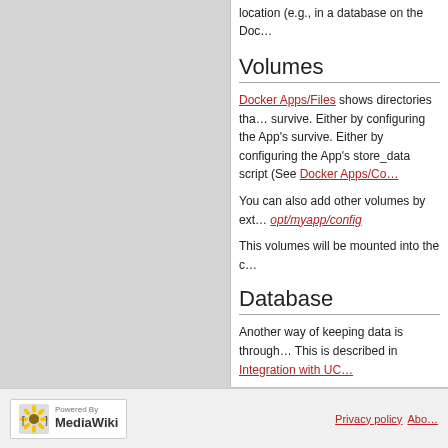location (e.g., in a database on the Doc…
Volumes
Docker Apps/Files shows directories that survive. Either by configuring the App's store_data script (See Docker Apps/Co…
You can also add other volumes by ext… opt/myapp/config
This volumes will be mounted into the c…
Database
Another way of keeping data is through… This is described in Integration with UC…
Category: » App Center Developer…
[Figure (logo): Powered by MediaWiki logo with sunflower icon]
Privacy policy  Abo…